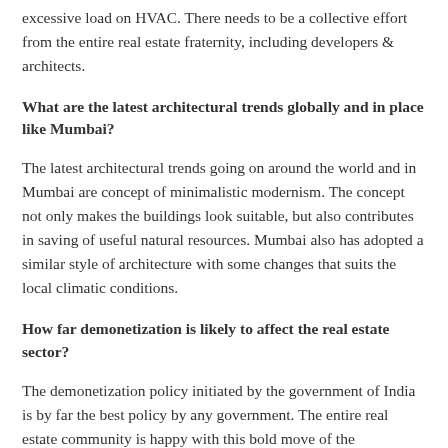excessive load on HVAC. There needs to be a collective effort from the entire real estate fraternity, including developers & architects.
What are the latest architectural trends globally and in place like Mumbai?
The latest architectural trends going on around the world and in Mumbai are concept of minimalistic modernism. The concept not only makes the buildings look suitable, but also contributes in saving of useful natural resources. Mumbai also has adopted a similar style of architecture with some changes that suits the local climatic conditions.
How far demonetization is likely to affect the real estate sector?
The demonetization policy initiated by the government of India is by far the best policy by any government. The entire real estate community is happy with this bold move of the government. This act would not only bring